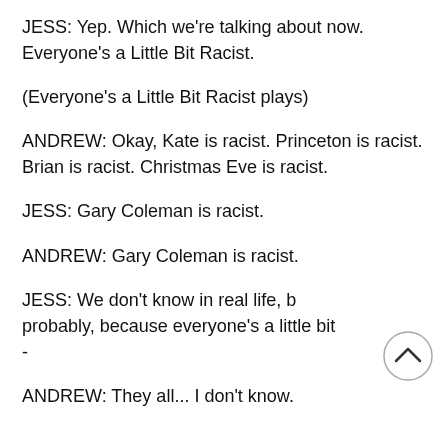JESS: Yep. Which we're talking about now. Everyone's a Little Bit Racist.
(Everyone's a Little Bit Racist plays)
ANDREW: Okay, Kate is racist. Princeton is racist. Brian is racist. Christmas Eve is racist.
JESS: Gary Coleman is racist.
ANDREW: Gary Coleman is racist.
JESS: We don't know in real life, b probably, because everyone's a little bit -
ANDREW: They all... I don't know.